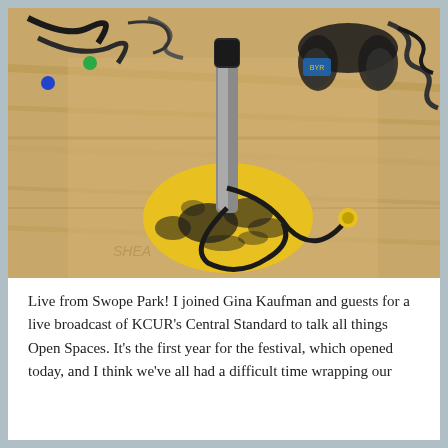[Figure (photo): A yellow and black worn microphone stand base on a wooden table, with a silver microphone attached. Headphones, cables, and audio equipment are visible in the background on the wooden surface.]
Live from Swope Park! I joined Gina Kaufman and guests for a live broadcast of KCUR's Central Standard to talk all things Open Spaces. It's the first year for the festival, which opened today, and I think we've all had a difficult time wrapping our